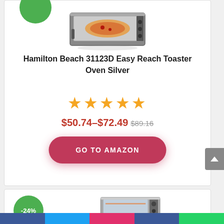[Figure (photo): Hamilton Beach 31123D Easy Reach Toaster Oven Silver product image (partially visible at top)]
Hamilton Beach 31123D Easy Reach Toaster Oven Silver
★★★★★
$50.74–$72.49 $89.16
GO TO AMAZON
[Figure (photo): Second toaster oven product image with -24% discount badge]